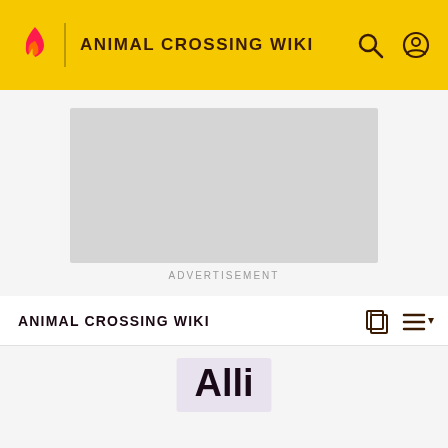ANIMAL CROSSING WIKI
[Figure (other): Advertisement placeholder — grey rectangle]
ADVERTISEMENT
ANIMAL CROSSING WIKI
Alli